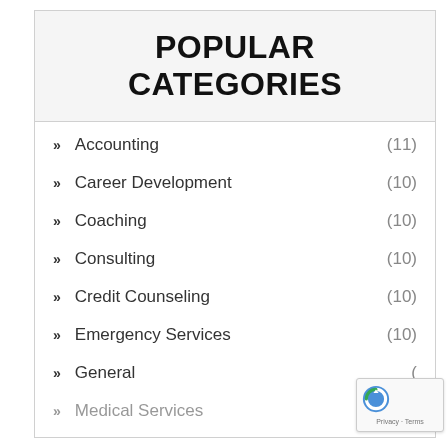POPULAR CATEGORIES
Accounting (11)
Career Development (10)
Coaching (10)
Consulting (10)
Credit Counseling (10)
Emergency Services (10)
General (-)
Medical Services (11)